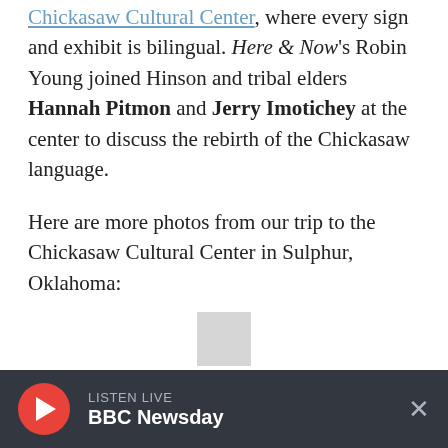Chickasaw Cultural Center, where every sign and exhibit is bilingual. Here & Now's Robin Young joined Hinson and tribal elders Hannah Pitmon and Jerry Imotichey at the center to discuss the rebirth of the Chickasaw language.
Here are more photos from our trip to the Chickasaw Cultural Center in Sulphur, Oklahoma:
[Figure (photo): Placeholder image (gray square) representing a bilingual sign photo]
A bilingual sign in the Chikasha Poya Exhibit Center at the Chickasaw Cultural Center in Sulphur, Okla. (Karyn Miller-Medzon/Here & Now)
LISTEN LIVE BBC Newsday